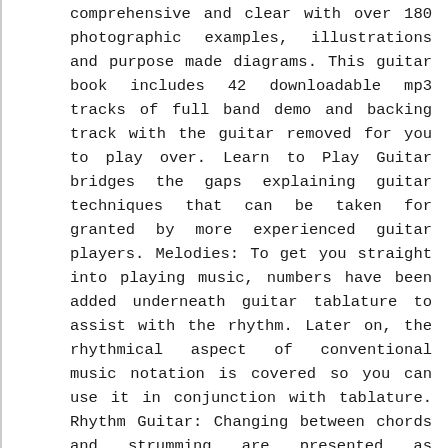comprehensive and clear with over 180 photographic examples, illustrations and purpose made diagrams. This guitar book includes 42 downloadable mp3 tracks of full band demo and backing track with the guitar removed for you to play over. Learn to Play Guitar bridges the gaps explaining guitar techniques that can be taken for granted by more experienced guitar players. Melodies: To get you straight into playing music, numbers have been added underneath guitar tablature to assist with the rhythm. Later on, the rhythmical aspect of conventional music notation is covered so you can use it in conjunction with tablature. Rhythm Guitar: Changing between chords and strumming are presented as separate subjects initially, so that you can develop coordination in each hand independently. They are then brought together